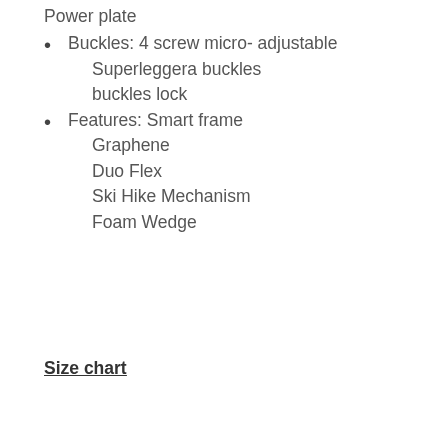Power plate
Buckles: 4 screw micro- adjustable Superleggera buckles buckles lock
Features: Smart frame Graphene Duo Flex Ski Hike Mechanism Foam Wedge
Size chart